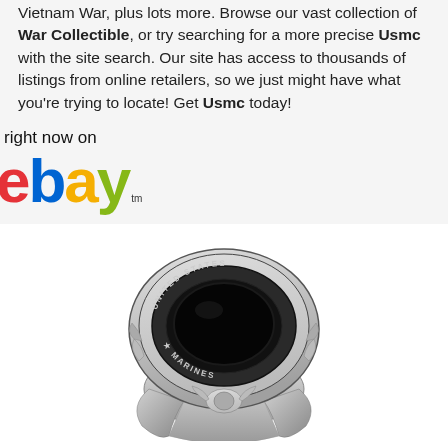Vietnam War, plus lots more. Browse our vast collection of War Collectible, or try searching for a more precise Usmc with the site search. Our site has access to thousands of listings from online retailers, so we just might have what you're trying to locate! Get Usmc today!
right now on
[Figure (logo): eBay logo with trademark symbol, letters in red, blue, yellow, green]
[Figure (photo): Silver United States Marines ring with black oval onyx stone, decorated band with eagle motif]